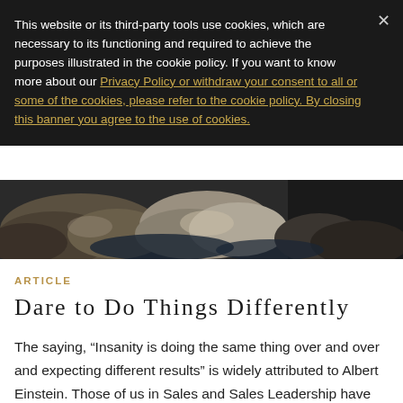This website or its third-party tools use cookies, which are necessary to its functioning and required to achieve the purposes illustrated in the cookie policy. If you want to know more about our Privacy Policy or withdraw your consent to all or some of the cookies, please refer to the cookie policy. By closing this banner you agree to the use of cookies.
[Figure (photo): Partial view of a rocky or natural textured landscape photo, heavily cropped showing stones or rocky terrain against a dark background.]
ARTICLE
Dare to Do Things Differently
The saying, “Insanity is doing the same thing over and over and expecting different results” is widely attributed to Albert Einstein. Those of us in Sales and Sales Leadership have related to that